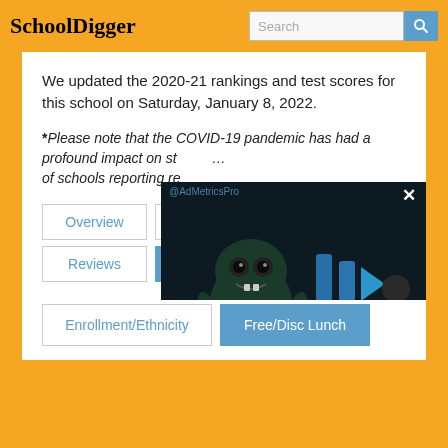SchoolDigger
We updated the 2020-21 rankings and test scores for this school on Saturday, January 8, 2022.
*Please note that the COVID-19 pandemic has had a profound impact on student testing, as well as the number of schools reporting results.
Overview
Boundaries
Reviews
Student/Teacher Ratio
Enrollment/Ethnicity
Free/Disc Lunch
[Figure (screenshot): AdMetricsPro video ad overlay showing a cartoon monster character with play icon, mute button, and close (X) button on a dark background]